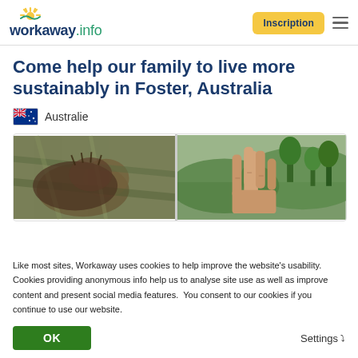workaway.info — Inscription
Come help our family to live more sustainably in Foster, Australia
Australie
[Figure (photo): Two side-by-side photos: left shows a close-up of an animal (possibly a wombat or hedgehog) in grass; right shows a hand with fingers raised against a forested hillside background.]
This website uses cookies
Like most sites, Workaway uses cookies to help improve the website's usability. Cookies providing anonymous info help us to analyse site use as well as improve content and present social media features.  You consent to our cookies if you continue to use our website.
OK
Settings ˅